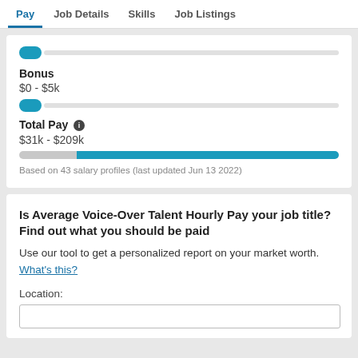Pay | Job Details | Skills | Job Listings
Bonus
$0 - $5k
Total Pay ℹ
$31k - $209k
Based on 43 salary profiles (last updated Jun 13 2022)
Is Average Voice-Over Talent Hourly Pay your job title? Find out what you should be paid
Use our tool to get a personalized report on your market worth. What's this?
Location: